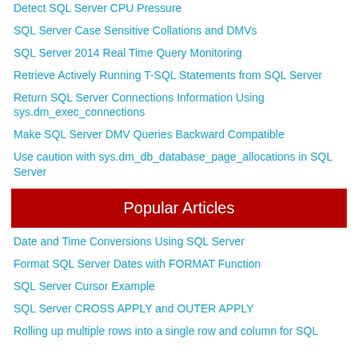Detect SQL Server CPU Pressure
SQL Server Case Sensitive Collations and DMVs
SQL Server 2014 Real Time Query Monitoring
Retrieve Actively Running T-SQL Statements from SQL Server
Return SQL Server Connections Information Using sys.dm_exec_connections
Make SQL Server DMV Queries Backward Compatible
Use caution with sys.dm_db_database_page_allocations in SQL Server
Popular Articles
Date and Time Conversions Using SQL Server
Format SQL Server Dates with FORMAT Function
SQL Server Cursor Example
SQL Server CROSS APPLY and OUTER APPLY
Rolling up multiple rows into a single row and column for SQL